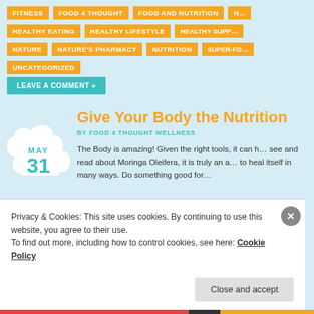FITNESS
FOOD 4 THOUGHT
FOOD AND NUTRITION
HEALTHY EATING
HEALTHY LIFESTYLE
HEALTHY SUPP…
NATURE
NATURE'S PHARMACY
NUTRITION
SUPER-FO…
UNCATEGORIZED
LEAVE A COMMENT »
MAY 31
Give Your Body the Nutritio…
BY FOOD 4 THOUGHT WELLNESS
The Body is amazing!  Given the right tools, it can h… see and read about Moringa Oleifera,  it is truly an a… to heal itself in many ways.  Do something good for…
Privacy & Cookies: This site uses cookies. By continuing to use this website, you agree to their use.
To find out more, including how to control cookies, see here: Cookie Policy
Close and accept